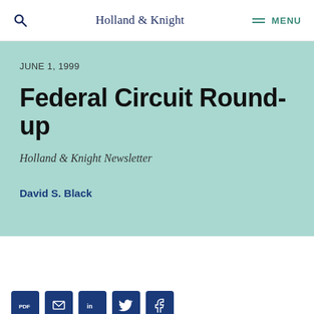Holland & Knight  MENU
JUNE 1, 1999
Federal Circuit Round-up
Holland & Knight Newsletter
David S. Black
[Figure (other): Share buttons row: PDF, email, LinkedIn, Twitter, Facebook icons in dark navy square buttons]